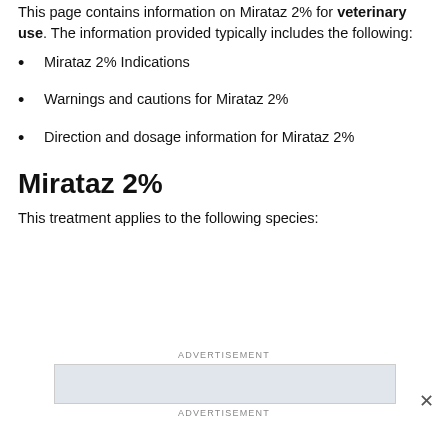This page contains information on Mirataz 2% for veterinary use. The information provided typically includes the following:
Mirataz 2% Indications
Warnings and cautions for Mirataz 2%
Direction and dosage information for Mirataz 2%
Mirataz 2%
This treatment applies to the following species:
ADVERTISEMENT